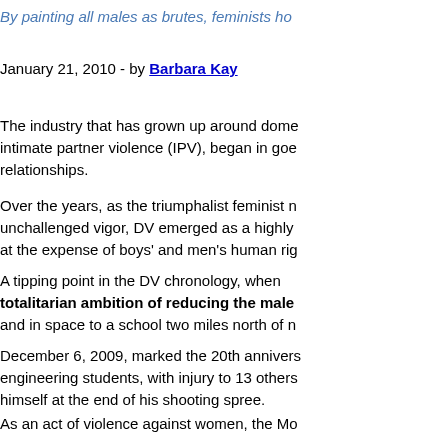By painting all males as brutes, feminists ho
January 21, 2010 - by Barbara Kay
The industry that has grown up around dome intimate partner violence (IPV), began in goe relationships.
Over the years, as the triumphalist feminist r unchallenged vigor, DV emerged as a highly at the expense of boys' and men's human rig
A tipping point in the DV chronology, when totalitarian ambition of reducing the male and in space to a school two miles north of n
December 6, 2009, marked the 20th annivers engineering students, with injury to 13 others himself at the end of his shooting spree.
As an act of violence against women, the Mo but Lepine chose to identify with his québéc unaligned with any faith, political movement massacre presented elements of an honor kill